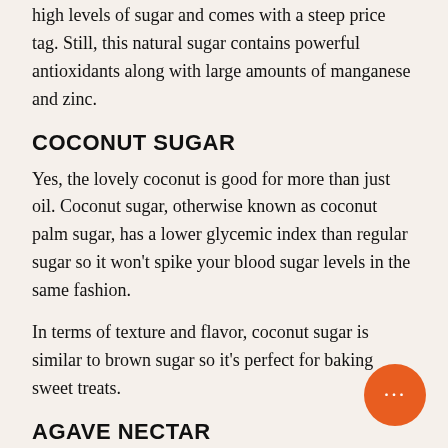high levels of sugar and comes with a steep price tag. Still, this natural sugar contains powerful antioxidants along with large amounts of manganese and zinc.
COCONUT SUGAR
Yes, the lovely coconut is good for more than just oil. Coconut sugar, otherwise known as coconut palm sugar, has a lower glycemic index than regular sugar so it won't spike your blood sugar levels in the same fashion.
In terms of texture and flavor, coconut sugar is similar to brown sugar so it's perfect for baking sweet treats.
AGAVE NECTAR
On one hand, agave nectar is very low in glucose so it won't spike blood sugar levels like table sugar.
However, it does contain dangerously high levels of fructose, which can lead to liver issues in the same vein as high-fructose corn syrup. Agave isn't the healthiest